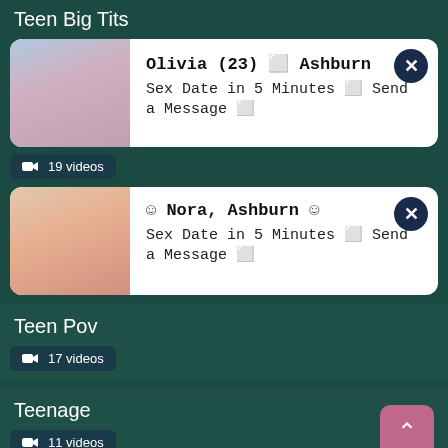Teen Big Tits
[Figure (photo): Ad card with photo of young woman - Olivia (23), Ashburn. Sex Date in 5 Minutes - Send a Message]
📷 19 videos
[Figure (photo): Ad card with photo of blonde woman - Nora, Ashburn. Sex Date in 5 Minutes - Send a Message]
Teen Pov
📷 17 videos
Teenage
📷 11 videos